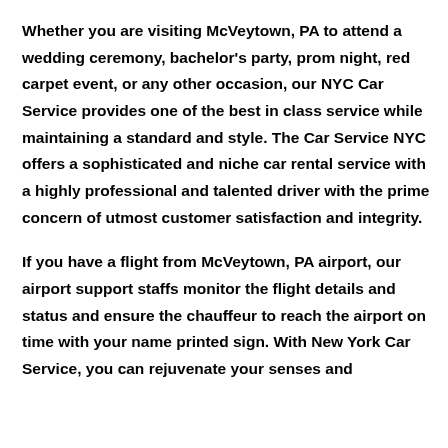Whether you are visiting McVeytown, PA to attend a wedding ceremony, bachelor's party, prom night, red carpet event, or any other occasion, our NYC Car Service provides one of the best in class service while maintaining a standard and style. The Car Service NYC offers a sophisticated and niche car rental service with a highly professional and talented driver with the prime concern of utmost customer satisfaction and integrity.
If you have a flight from McVeytown, PA airport, our airport support staffs monitor the flight details and status and ensure the chauffeur to reach the airport on time with your name printed sign. With New York Car Service, you can rejuvenate your senses and